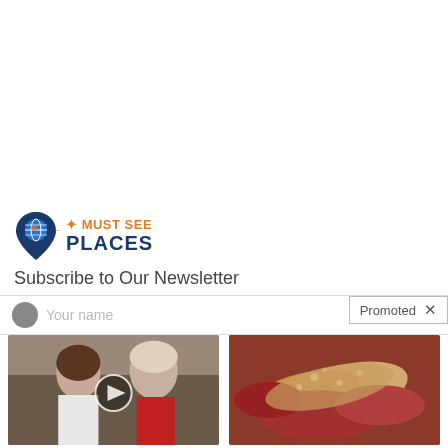[Figure (logo): Must See Places logo with map pin icon and text]
Subscribe to Our Newsletter
Promoted X
[Figure (photo): Photo of two people (Melania and Donald Trump) with a video play button overlay]
Top Democrats Fear This Video Getting Out — Watch Now Before It's Banned
🔥 315,177
[Figure (photo): Medical illustration of a pancreas organ]
What They Didn't Want You Knowing About Metformin
🔥 217,966